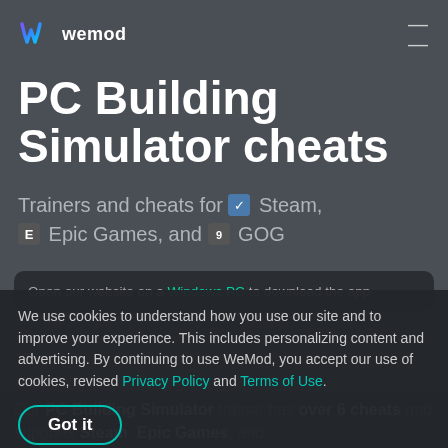wemod
PC Building Simulator cheats
Trainers and cheats for Steam, Epic Games, and GOG
Open our website on a Windows PC to download the app
We use cookies to understand how you use our site and to improve your experience. This includes personalizing content and advertising. By continuing to use WeMod, you accept our use of cookies, revised Privacy Policy and Terms of Use.
Got it
Our PC Building Simulator trainer has over 6 cheats and supports Steam, Epic Games, and